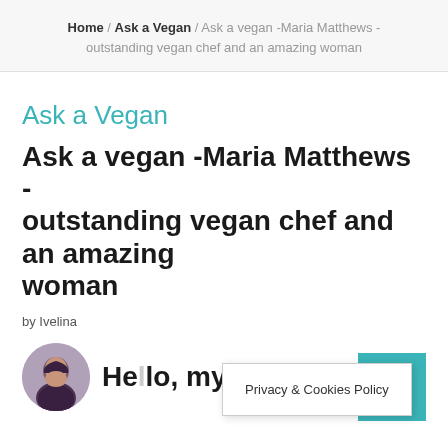Home / Ask a Vegan / Ask a vegan -Maria Matthews - outstanding vegan chef and an amazing woman
Ask a Vegan
Ask a vegan -Maria Matthews - outstanding vegan chef and an amazing woman
by Ivelina
[Figure (photo): Circular profile photo of a woman with dark hair]
Hello, my frien...
Privacy & Cookies Policy